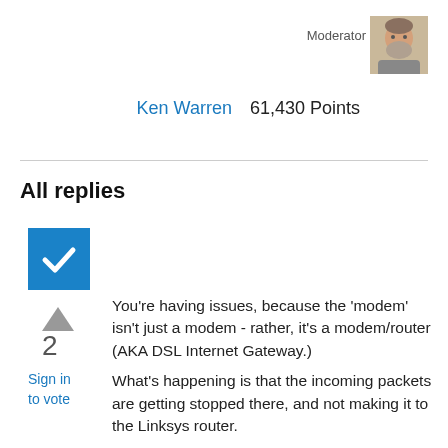Moderator
[Figure (photo): Avatar photo of Ken Warren, a man with grey beard]
Ken Warren   61,430 Points
All replies
[Figure (other): Blue checkmark box indicating accepted/verified answer]
[Figure (other): Upvote arrow triangle in grey]
2
Sign in
to vote
You're having issues, because the 'modem' isn't just a modem - rather, it's a modem/router (AKA DSL Internet Gateway.)
What's happening is that the incoming packets are getting stopped there, and not making it to the Linksys router.

The best, most-trouble-free way to fix it is to configure the modem to run in